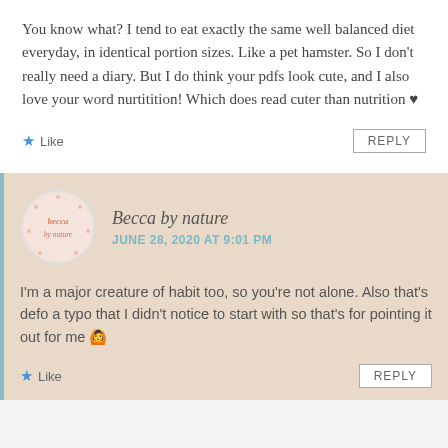You know what? I tend to eat exactly the same well balanced diet everyday, in identical portion sizes. Like a pet hamster. So I don't really need a diary. But I do think your pdfs look cute, and I also love your word nurtitition! Which does read cuter than nutrition ♥
★ Like   REPLY
[Figure (illustration): Circular avatar logo for 'Becca by nature' blog with pink handwritten text on a light pink background with decorative dots]
Becca by nature
JUNE 28, 2020 AT 9:01 PM
I'm a major creature of habit too, so you're not alone. Also that's defo a typo that I didn't notice to start with so that's for pointing it out for me 🙆
★ Like   REPLY